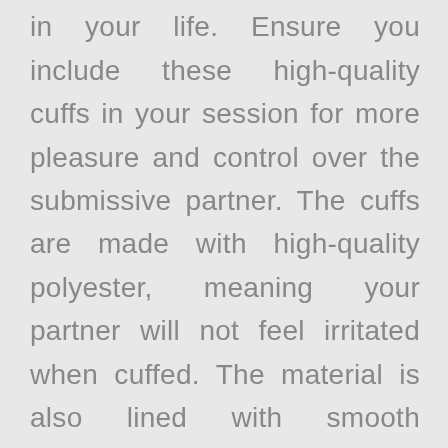that you have never expected in your life. Ensure you include these high-quality cuffs in your session for more pleasure and control over the submissive partner. The cuffs are made with high-quality polyester, meaning your partner will not feel irritated when cuffed. The material is also lined with smooth material to make your partner feel comfortable even when playing hard. The Velcro lock mechanism is adjustable, meaning you can tie any wrist size. You can also adjust it if it is too tight for your partner. With these cuffs, you are guaranteed to keep your partner under control for as long as you want. Get them here at an affordable price. Wash it by wiping it down with a wet towel.